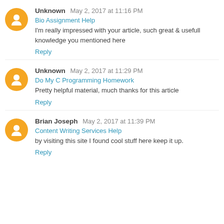Unknown May 2, 2017 at 11:16 PM
Bio Assignment Help
I'm really impressed with your article, such great & usefull knowledge you mentioned here
Reply
Unknown May 2, 2017 at 11:29 PM
Do My C Programming Homework
Pretty helpful material, much thanks for this article
Reply
Brian Joseph May 2, 2017 at 11:39 PM
Content Writing Services Help
by visiting this site I found cool stuff here keep it up.
Reply